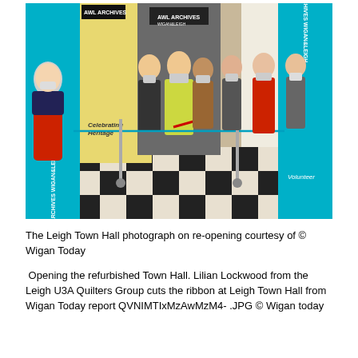[Figure (photo): A group of people wearing face masks standing at the entrance of Leigh Town Hall Archives Wigan & Leigh exhibition. A woman in a yellow cardigan is cutting a teal ribbon with red scissors. The floor has a black and white checkered pattern. Exhibition banners reading 'Archives Wigan & Leigh', 'Celebrating Heritage', and 'Volunteer' are visible on either side.]
The Leigh Town Hall photograph on re-opening courtesy of © Wigan Today
Opening the refurbished Town Hall. Lilian Lockwood from the Leigh U3A Quilters Group cuts the ribbon at Leigh Town Hall from Wigan Today report QVNIMTIxMzAwMzM4- .JPG © Wigan today